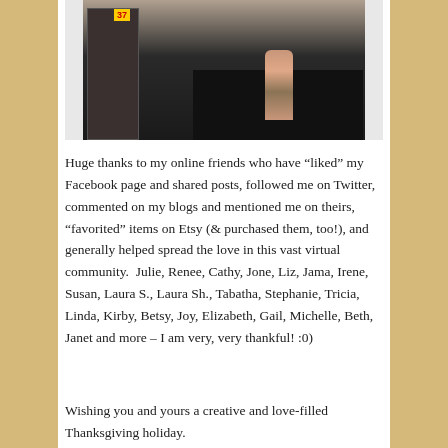[Figure (photo): Interior of a craft fair or market booth under a white tent, showing display racks with cards/artwork on the left, dark draped tables, and a woman sitting on the right side. A yellow number tag showing '37' is visible at top left.]
Huge thanks to my online friends who have “liked” my Facebook page and shared posts, followed me on Twitter, commented on my blogs and mentioned me on theirs, “favorited” items on Etsy (& purchased them, too!), and generally helped spread the love in this vast virtual community.  Julie, Renee, Cathy, Jone, Liz, Jama, Irene, Susan, Laura S., Laura Sh., Tabatha, Stephanie, Tricia, Linda, Kirby, Betsy, Joy, Elizabeth, Gail, Michelle, Beth, Janet and more – I am very, very thankful! :0)
Wishing you and yours a creative and love-filled Thanksgiving holiday.